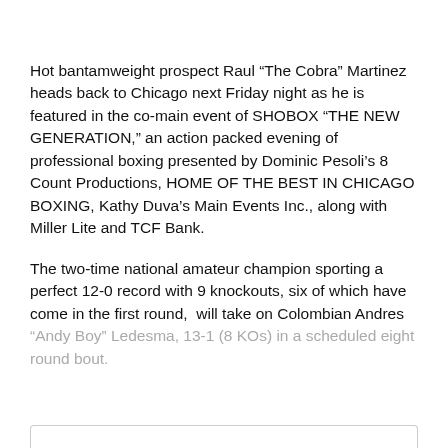Hot bantamweight prospect Raul “The Cobra” Martinez heads back to Chicago next Friday night as he is featured in the co-main event of SHOBOX “THE NEW GENERATION,” an action packed evening of professional boxing presented by Dominic Pesoli’s 8 Count Productions, HOME OF THE BEST IN CHICAGO BOXING, Kathy Duva’s Main Events Inc., along with Miller Lite and TCF Bank.
The two-time national amateur champion sporting a perfect 12-0 record with 9 knockouts, six of which have come in the first round,  will take on Colombian Andres “Andy Boy” Ledesma, 13-1 (8 KOs) in a scheduled eight round bout.